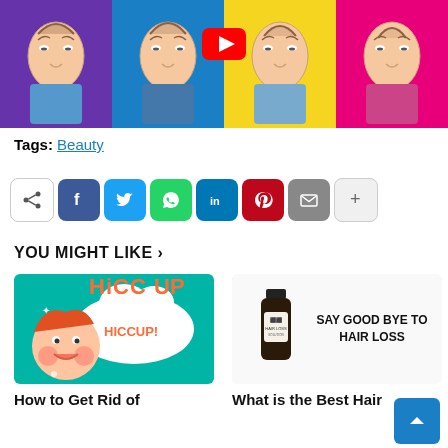[Figure (illustration): YouTube video thumbnail showing four illustrated male faces with receding hairlines on colored backgrounds (purple, blue, yellow, pink) with a YouTube play button icon overlay]
Tags: Beauty
[Figure (infographic): Social share buttons row: share icon, Facebook, Twitter, WhatsApp, LinkedIn, Pinterest, Email, and More (+) buttons]
YOU MIGHT LIKE >
[Figure (illustration): Hiccup cartoon illustration showing a child with text 'HICCUP!' on teal background]
How to Get Rid of
[Figure (photo): Hair loss product advertisement showing a dark bottle with label and text 'SAY GOOD BYE TO HAIR LOSS']
What is the Best Hair